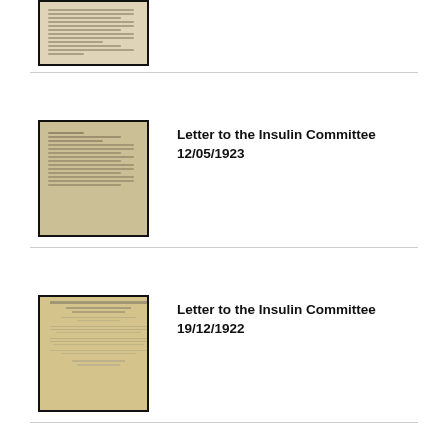[Figure (photo): Partial thumbnail of a typed/handwritten document, cropped at top]
[Figure (photo): Thumbnail of a handwritten letter to the Insulin Committee dated 12/05/1923]
Letter to the Insulin Committee
12/05/1923
[Figure (photo): Thumbnail of a typed letter to the Insulin Committee dated 19/12/1922]
Letter to the Insulin Committee
19/12/1922